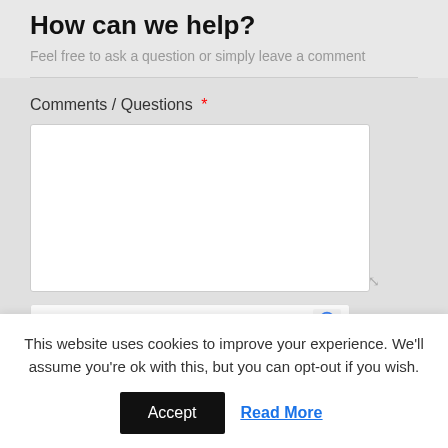How can we help?
Feel free to ask a question or simply leave a comment
Comments / Questions *
[Figure (screenshot): Empty textarea input box for comments/questions with resize handle in bottom-right corner]
[Figure (screenshot): reCAPTCHA verification widget partially visible]
This website uses cookies to improve your experience. We'll assume you're ok with this, but you can opt-out if you wish.
Accept
Read More